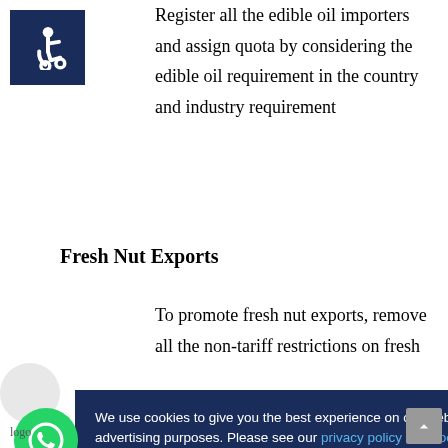[Figure (illustration): Accessibility wheelchair icon — white symbol on dark navy blue square background]
Register all the edible oil importers and assign quota by considering the edible oil requirement in the country and industry requirement
Fresh Nut Exports
To promote fresh nut exports, remove all the non-tariff restrictions on fresh
We use cookies to give you the best experience on our website. We also use cookies for advertising purposes. Please see our privacy policy and cookies help page for complete information.
Accept Cookies